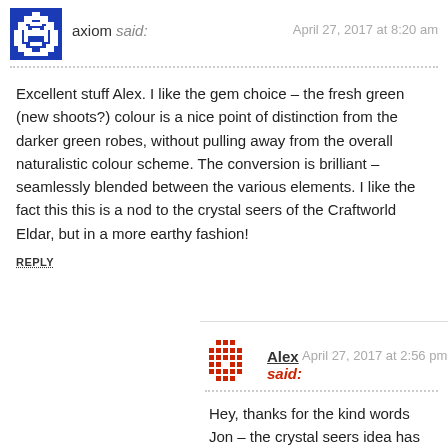axiom said: April 27, 2017 at 8:20 am
Excellent stuff Alex. I like the gem choice – the fresh green (new shoots?) colour is a nice point of distinction from the darker green robes, without pulling away from the overall naturalistic colour scheme. The conversion is brilliant – seamlessly blended between the various elements. I like the fact this this is a nod to the crystal seers of the Craftworld Eldar, but in a more earthy fashion!
REPLY
Alex said: April 27, 2017 at 2:56 pm
Hey, thanks for the kind words Jon – the crystal seers idea has been buried in my memory for many years, and definitely informed the concept for this piece :-) I'm glad you like her mate.